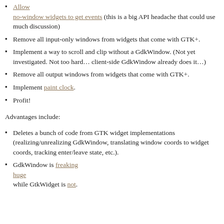Allow no-window widgets to get events (this is a big API headache that could use much discussion)
Remove all input-only windows from widgets that come with GTK+.
Implement a way to scroll and clip without a GdkWindow. (Not yet investigated. Not too hard… client-side GdkWindow already does it…)
Remove all output windows from widgets that come with GTK+.
Implement paint clock.
Profit!
Advantages include:
Deletes a bunch of code from GTK widget implementations (realizing/unrealizing GdkWindow, translating window coords to widget coords, tracking enter/leave state, etc.).
GdkWindow is freaking huge while GtkWidget is not.